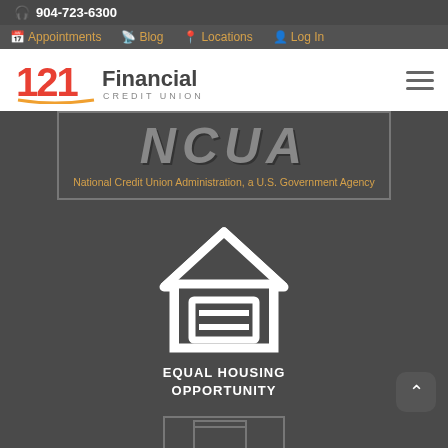904-723-6300
Appointments | Blog | Locations | Log In
[Figure (logo): 121 Financial Credit Union logo with red and orange numbers and sans-serif text]
[Figure (logo): NCUA logo — large italic grey letters with tagline: National Credit Union Administration, a U.S. Government Agency]
[Figure (logo): Equal Housing Opportunity logo — white house outline with equals sign inside, above text EQUAL HOUSING OPPORTUNITY]
EQUAL HOUSING OPPORTUNITY
[Figure (other): Partial bottom logo box, partially cut off at page bottom]